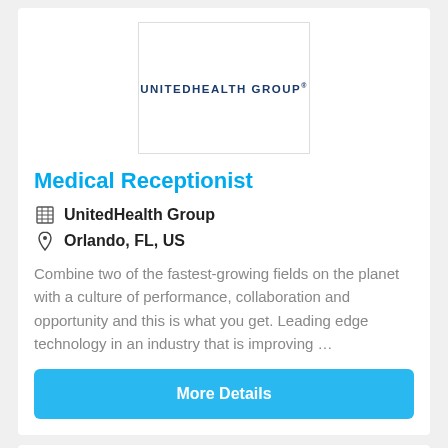[Figure (logo): UnitedHealth Group logo in a white bordered box]
Medical Receptionist
UnitedHealth Group
Orlando, FL, US
Combine two of the fastest-growing fields on the planet with a culture of performance, collaboration and opportunity and this is what you get. Leading edge technology in an industry that is improving ...
More Details
NEW
[Figure (logo): Postal Jobs Source circular badge logo partially visible]